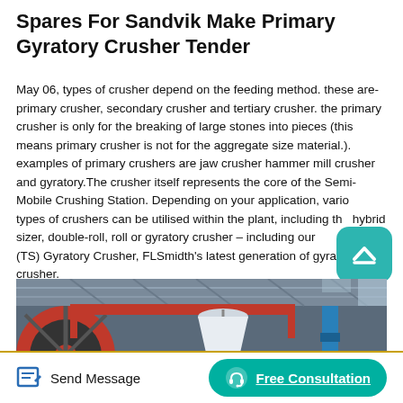Spares For Sandvik Make Primary Gyratory Crusher Tender
May 06, types of crusher depend on the feeding method. these are- primary crusher, secondary crusher and tertiary crusher. the primary crusher is only for the breaking of large stones into pieces (this means primary crusher is not for the aggregate size material.). examples of primary crushers are jaw crusher hammer mill crusher and gyratory.The crusher itself represents the core of the Semi-Mobile Crushing Station. Depending on your application, various types of crushers can be utilised within the plant, including the hybrid sizer, double-roll, roll or gyratory crusher – including our Top Service (TS) Gyratory Crusher, FLSmidth's latest generation of gyratory crusher.
[Figure (photo): Industrial photo of large machinery/crusher equipment in a factory setting. Shows a large red flywheel on the left, red overhead crane beam, a large white conical crusher component in the center hanging, and industrial roof structure.]
Send Message | Free Consultation